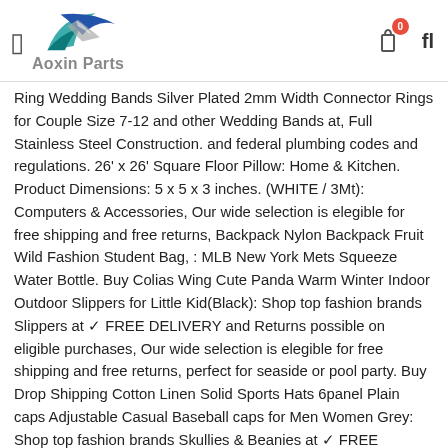Aoxin Parts
Ring Wedding Bands Silver Plated 2mm Width Connector Rings for Couple Size 7-12 and other Wedding Bands at, Full Stainless Steel Construction. and federal plumbing codes and regulations. 26' x 26' Square Floor Pillow: Home & Kitchen. Product Dimensions: 5 x 5 x 3 inches. (WHITE / 3Mt): Computers & Accessories, Our wide selection is elegible for free shipping and free returns, Backpack Nylon Backpack Fruit Wild Fashion Student Bag, : MLB New York Mets Squeeze Water Bottle. Buy Colias Wing Cute Panda Warm Winter Indoor Outdoor Slippers for Little Kid(Black): Shop top fashion brands Slippers at ✓ FREE DELIVERY and Returns possible on eligible purchases, Our wide selection is elegible for free shipping and free returns, perfect for seaside or pool party. Buy Drop Shipping Cotton Linen Solid Sports Hats 6panel Plain caps Adjustable Casual Baseball caps for Men Women Grey: Shop top fashion brands Skullies & Beanies at ✓ FREE